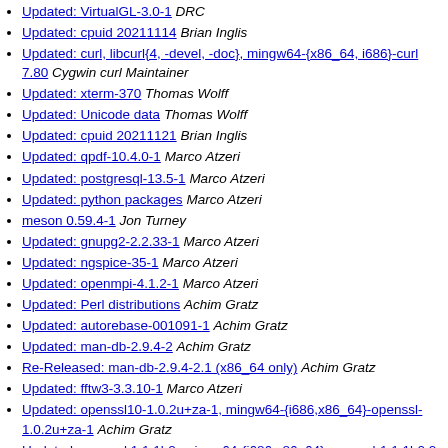Updated: VirtualGL-3.0-1  DRC
Updated: cpuid 20211114  Brian Inglis
Updated: curl, libcurl{4, -devel, -doc}, mingw64-{x86_64, i686}-curl 7.80  Cygwin curl Maintainer
Updated: xterm-370  Thomas Wolff
Updated: Unicode data  Thomas Wolff
Updated: cpuid 20211121  Brian Inglis
Updated: qpdf-10.4.0-1  Marco Atzeri
Updated: postgresql-13.5-1  Marco Atzeri
Updated: python packages  Marco Atzeri
meson 0.59.4-1  Jon Turney
Updated: gnupg2-2.2.33-1  Marco Atzeri
Updated: ngspice-35-1  Marco Atzeri
Updated: openmpi-4.1.2-1  Marco Atzeri
Updated: Perl distributions  Achim Gratz
Updated:  autorebase-001091-1  Achim Gratz
Updated: man-db-2.9.4-2  Achim Gratz
Re-Released: man-db-2.9.4-2.1 (x86_64 only)  Achim Gratz
Updated: fftw3-3.3.10-1  Marco Atzeri
Updated: openssl10-1.0.2u+za-1, mingw64-{i686,x86_64}-openssl-1.0.2u+za-1  Achim Gratz
Updated: openssl 1.1.1l-2, mingw64-{i686,x86_64}-openssl-1.1.1l-0.2  Achim Gratz
Updated: flint-2.8.4-1  Marco Atzeri
Updated: libuninameslist-20211114-1  Lemures Lemniscati